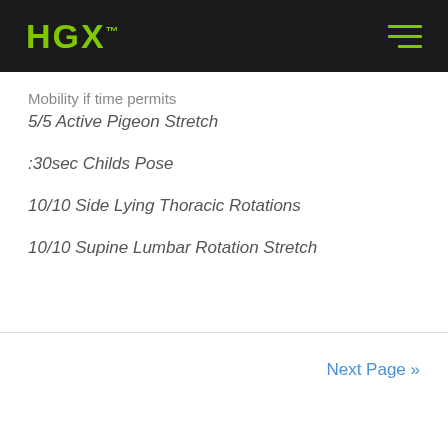HGX™
Mobility if time permits
5/5 Active Pigeon Stretch
:30sec Childs Pose
10/10 Side Lying Thoracic Rotations
10/10 Supine Lumbar Rotation Stretch
Next Page »